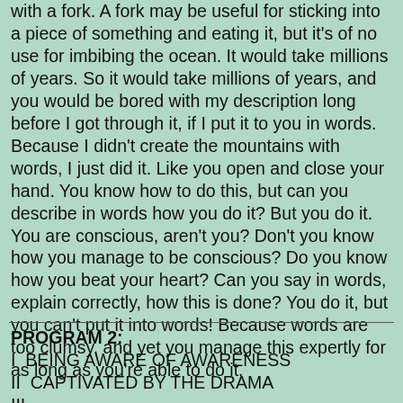with a fork. A fork may be useful for sticking into a piece of something and eating it, but it's of no use for imbibing the ocean. It would take millions of years. So it would take millions of years, and you would be bored with my description long before I got through it, if I put it to you in words. Because I didn't create the mountains with words, I just did it. Like you open and close your hand. You know how to do this, but can you describe in words how you do it? But you do it. You are conscious, aren't you? Don't you know how you manage to be conscious? Do you know how you beat your heart? Can you say in words, explain correctly, how this is done? You do it, but you can't put it into words! Because words are too clumsy, and yet you manage this expertly for as long as you're able to do it.
PROGRAM 2:
I  BEING AWARE OF AWARENESS
II  CAPTIVATED BY THE DRAMA
III
THE GAME OF HIDE AND SEEK